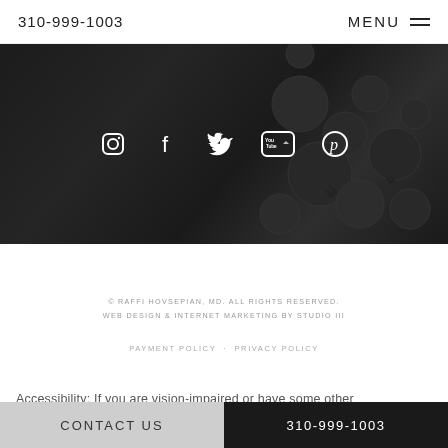310-999-1003   MENU
[Figure (screenshot): Dark banner with metallic circular shapes and social media icons (Instagram, Facebook, Twitter, YouTube, Pinterest) in white]
© RAFFI HOVSEPIAN, MD. ALL RIGHTS RESERVED. WEB DESIGN & INTERNET MARKETING BY STUDIO III
PAYMENT POLICY · PRIVACY POLICY
Accessibility: If you are vision-impaired or have some other
CONTACT US   310-999-1003